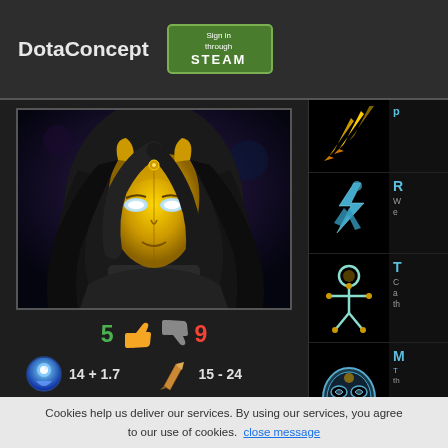DotaConcept  Sign in through Steam
[Figure (illustration): Hero portrait of a character with a golden mask and long dark hair, glowing white eyes, digital artwork style]
5 👍 👎 9
14 + 1.7  15 - 24  24 + 3.2  301
[Figure (illustration): Skill icon: missile/arrow symbol in gold on black background]
[Figure (illustration): Skill icon: lightning bolt figure in blue/teal on black background, labeled R]
[Figure (illustration): Skill icon: puppet/voodoo figure in gold/teal on black background, labeled T]
[Figure (illustration): Skill icon: mask face in teal/blue on black background, labeled M]
Cookies help us deliver our services. By using our services, you agree to our use of cookies. close message